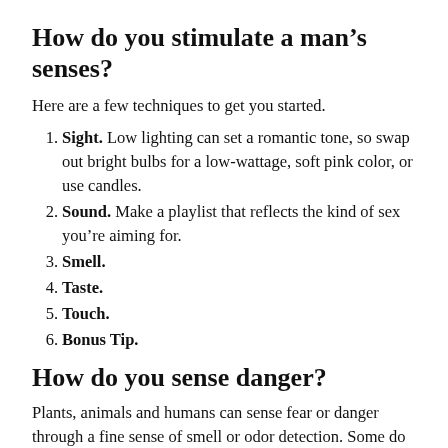How do you stimulate a man's senses?
Here are a few techniques to get you started.
Sight. Low lighting can set a romantic tone, so swap out bright bulbs for a low-wattage, soft pink color, or use candles.
Sound. Make a playlist that reflects the kind of sex you're aiming for.
Smell.
Taste.
Touch.
Bonus Tip.
How do you sense danger?
Plants, animals and humans can sense fear or danger through a fine sense of smell or odor detection. Some do it through sensing subtle vibrations. Finely tuned